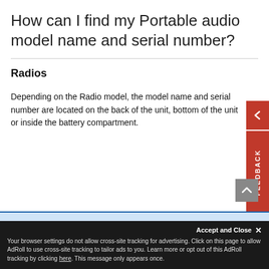How can I find my Portable audio model name and serial number?
Radios
Depending on the Radio model, the model name and serial number are located on the back of the unit, bottom of the unit or inside the battery compartment.
Accept and Close ✕
Your browser settings do not allow cross-site tracking for advertising. Click on this page to allow AdRoll to use cross-site tracking to tailor ads to you. Learn more or opt out of this AdRoll tracking by clicking here. This message only appears once.